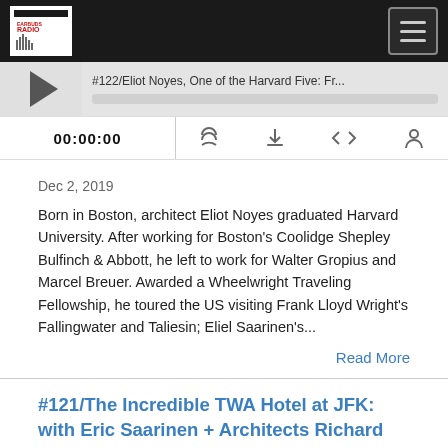[Figure (logo): Earbuds Radio logo with microphone waveform icon in white/red on black background]
[Figure (screenshot): Audio podcast player with episode title '#122/Eliot Noyes, One of the Harvard Five: Fr...' showing play button, progress bar, time display 00:00:00, and playback control icons]
Dec 2, 2019
Born in Boston, architect Eliot Noyes graduated Harvard University. After working for Boston's Coolidge Shepley Bulfinch & Abbott, he left to work for Walter Gropius and Marcel Breuer. Awarded a Wheelwright Traveling Fellowship, he toured the US visiting Frank Lloyd Wright's Fallingwater and Taliesin; Eliel Saarinen's...
Read More
#121/The Incredible TWA Hotel at JFK: with Eric Saarinen + Architects Richard Southwick, Anne Marie Lubrano + Lea